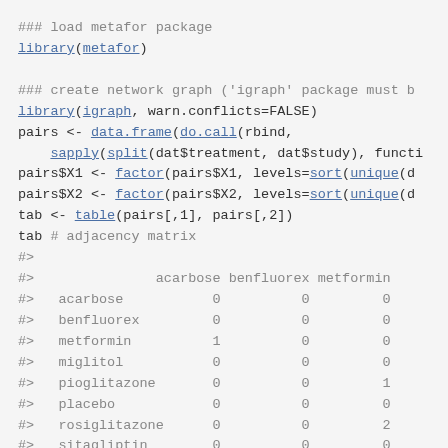### load metafor package
library(metafor)
### create network graph ('igraph' package must b
library(igraph, warn.conflicts=FALSE)
pairs <- data.frame(do.call(rbind,
    sapply(split(dat$treatment, dat$study), functi
pairs$X1 <- factor(pairs$X1, levels=sort(unique(d
pairs$X2 <- factor(pairs$X2, levels=sort(unique(d
tab <- table(pairs[,1], pairs[,2])
tab # adjacency matrix
#>
#>            acarbose benfluorex metformin
#>  acarbose         0          0         0
#>  benfluorex       0          0         0
#>  metformin        1          0         0
#>  miglitol         0          0         0
#>  pioglitazone     0          0         1
#>  placebo          0          0         0
#>  rosiglitazone    0          0         2
#>  sitagliptin      0          0         0
#>  sulfonylureas    0          0         0